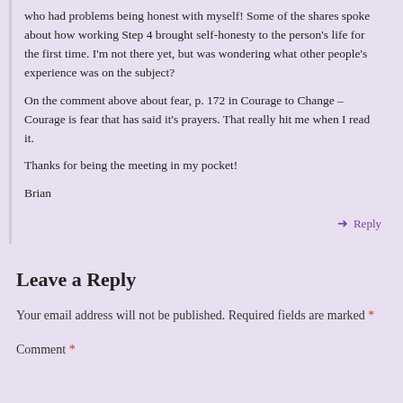who had problems being honest with myself! Some of the shares spoke about how working Step 4 brought self-honesty to the person's life for the first time. I'm not there yet, but was wondering what other people's experience was on the subject?

On the comment above about fear, p. 172 in Courage to Change – Courage is fear that has said it's prayers. That really hit me when I read it.

Thanks for being the meeting in my pocket!

Brian
Reply
Leave a Reply
Your email address will not be published. Required fields are marked *
Comment *